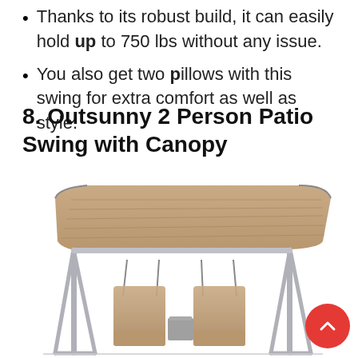Thanks to its robust build, it can easily hold up to 750 lbs without any issue.
You also get two pillows with this swing for extra comfort as well as style.
8. Outsunny 2 Person Patio Swing with Canopy
[Figure (photo): Product photo of an Outsunny 2-person patio swing with a tan/beige canopy, silver metal frame, two reclining seats, and a center table. A red scroll-to-top button is overlaid in the bottom right corner of the image.]